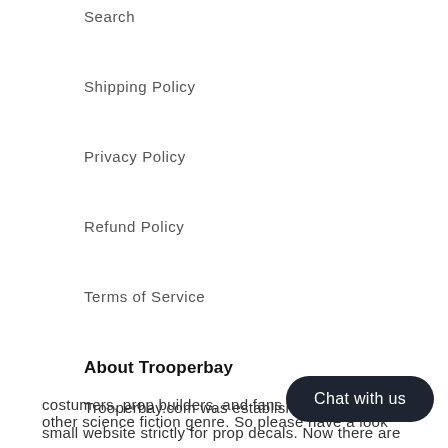Search
Shipping Policy
Privacy Policy
Refund Policy
Terms of Service
About Trooperbay
Trooperbay.com was established in 2007 as a small website strictly for prop decals. Now there are hundreds of items in our store, including supplies apparel, accessories, and personali… costumers, prop builders, and fans o… other science fiction genre. So please have a look